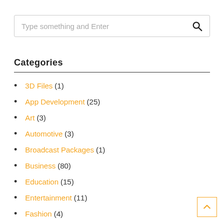Type something and Enter
Categories
3D Files (1)
App Development (25)
Art (3)
Automotive (3)
Broadcast Packages (1)
Business (80)
Education (15)
Entertainment (11)
Fashion (4)
Finance (14)